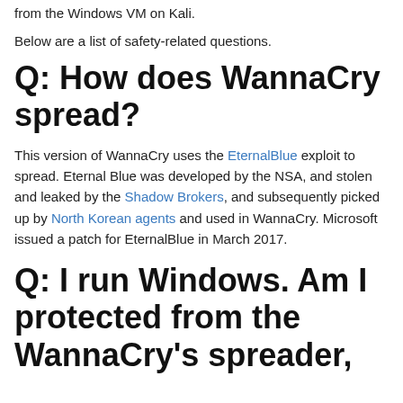from the Windows VM on Kali.
Below are a list of safety-related questions.
Q: How does WannaCry spread?
This version of WannaCry uses the EternalBlue exploit to spread. Eternal Blue was developed by the NSA, and stolen and leaked by the Shadow Brokers, and subsequently picked up by North Korean agents and used in WannaCry. Microsoft issued a patch for EternalBlue in March 2017.
Q: I run Windows. Am I protected from the WannaCry's spreader,